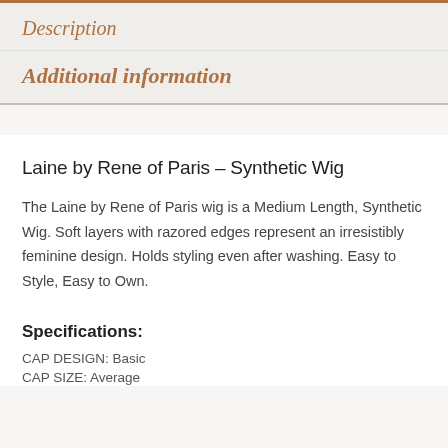Description
Additional information
Laine by Rene of Paris – Synthetic Wig
The Laine by Rene of Paris wig is a Medium Length, Synthetic Wig. Soft layers with razored edges represent an irresistibly feminine design. Holds styling even after washing. Easy to Style, Easy to Own.
Specifications:
CAP DESIGN: Basic
CAP SIZE: Average